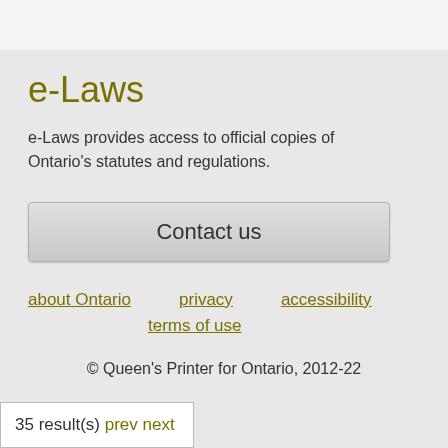e-Laws
e-Laws provides access to official copies of Ontario's statutes and regulations.
Contact us
about Ontario   privacy   accessibility   terms of use
© Queen's Printer for Ontario, 2012-22
35 result(s) prev next